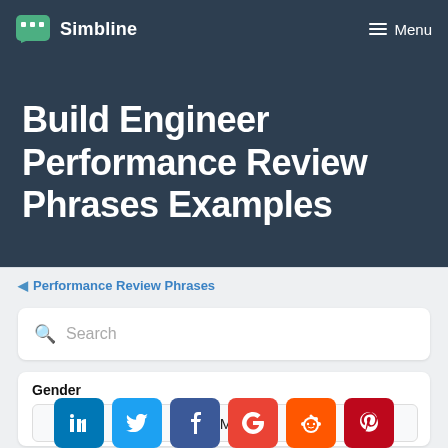Simbline  Menu
Build Engineer Performance Review Phrases Examples
◄ Performance Review Phrases
Search
Gender
Male
[Figure (infographic): Social share buttons: LinkedIn, Twitter, Facebook, Google, Reddit, Pinterest]